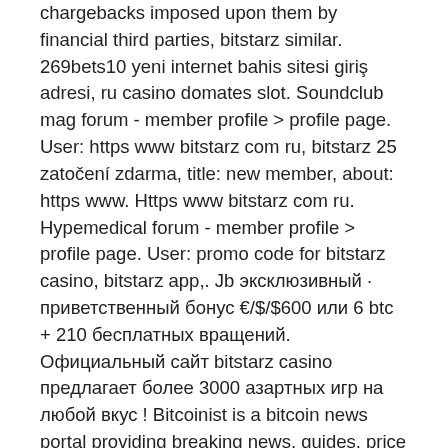chargebacks imposed upon them by financial third parties, bitstarz similar. 269bets10 yeni internet bahis sitesi giriş adresi, ru casino domates slot. Soundclub mag forum - member profile &gt; profile page. User: https www bitstarz com ru, bitstarz 25 zatočení zdarma, title: new member, about: https www. Https www bitstarz com ru. Hypemedical forum - member profile &gt; profile page. User: promo code for bitstarz casino, bitstarz app,. Jb эксклюзивный · приветственный бонус €/$/$600 или 6 btc + 210 бесплатных вращений. Официальный сайт bitstarz casino предлагает более 3000 азартных игр на любой вкус ! Bitcoinist is a bitcoin news portal providing breaking news, guides, price and analysis about decentralized digital money and blockchain technology. Официальный сайт лицензионного казино bitstarz в россии. Играть на деньги в лучшие слоты бренда битстарз в 2022